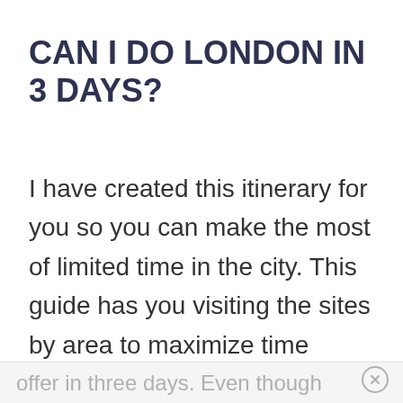CAN I DO LONDON IN 3 DAYS?
I have created this itinerary for you so you can make the most of limited time in the city. This guide has you visiting the sites by area to maximize time making it easy to see everything London has to offer in three days. Even though